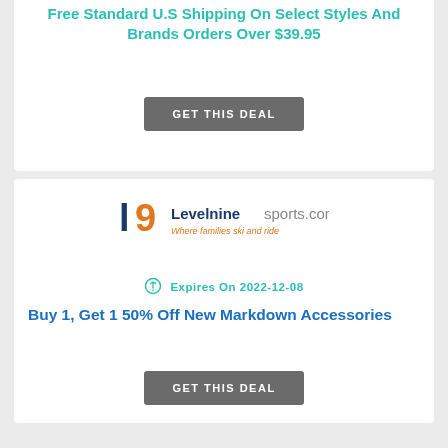Free Standard U.S Shipping On Select Styles And Brands Orders Over $39.95
GET THIS DEAL
[Figure (logo): LevelNineSports.com logo with tagline 'Where families ski and ride']
Expires On 2022-12-08
Buy 1, Get 1 50% Off New Markdown Accessories
GET THIS DEAL